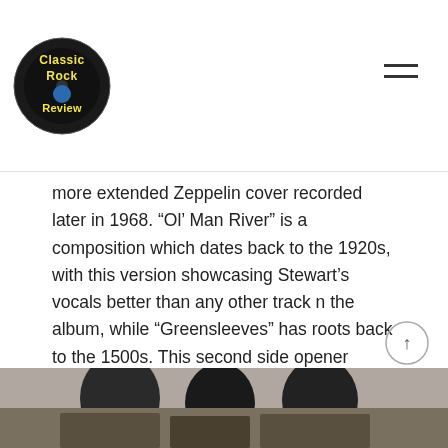Classic Rock Review
more extended Zeppelin cover recorded later in 1968. “Ol’ Man River” is a composition which dates back to the 1920s, with this version showcasing Stewart’s vocals better than any other track n the album, while “Greensleeves” has roots back to the 1500s. This second side opener offers a nice acoustic break to add warmth to the album and further showcase Beck’s diversity as a guitar player. “Rock My Plimsoul” is another original of authentic multi-textured electric blues.
[Figure (photo): Black and white photo strip showing people at the bottom of the page]